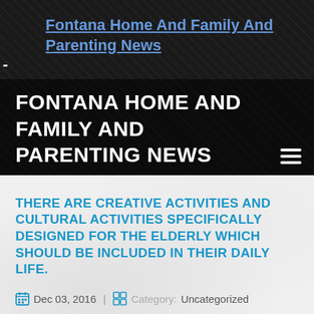Fontana Home And Family And Parenting News -
FONTANA HOME AND FAMILY AND PARENTING NEWS
THERE ARE CREATIVE ACTIVITIES AND CULTURAL ACTIVITIES SPECIFICALLY DESIGNED FOR THE ELDERLY WHICH SHOULD BE INCLUDED IN THEIR DAILY LIFE.
Dec 03, 2016 | Category: Uncategorized